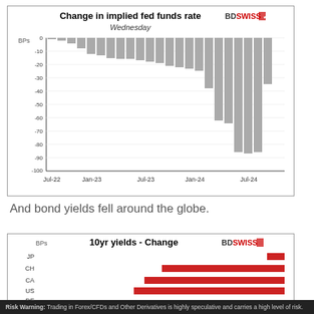[Figure (bar-chart): Change in implied fed funds rate — Wednesday]
And bond yields fell around the globe.
[Figure (bar-chart): 10yr yields - Change]
Risk Warning: Trading in Forex/CFDs and Other Derivatives is highly speculative and carries a high level of risk.